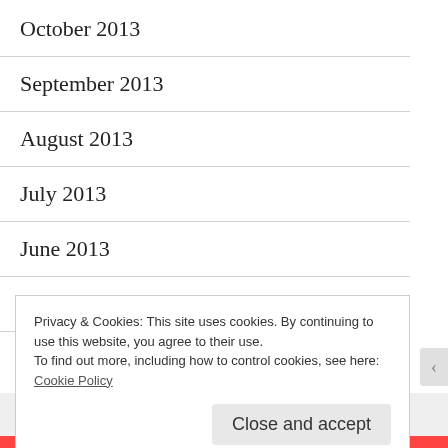October 2013
September 2013
August 2013
July 2013
June 2013
May 2013
April 2013
Privacy & Cookies: This site uses cookies. By continuing to use this website, you agree to their use.
To find out more, including how to control cookies, see here: Cookie Policy
Close and accept